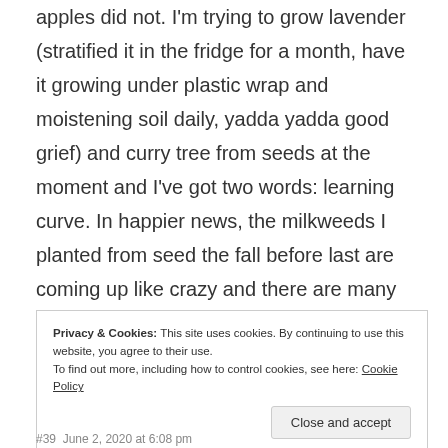apples did not. I'm trying to grow lavender (stratified it in the fridge for a month, have it growing under plastic wrap and moistening soil daily, yadda yadda good grief) and curry tree from seeds at the moment and I've got two words: learning curve. In happier news, the milkweeds I planted from seed the fall before last are coming up like crazy and there are many baby monarch caterpillars on them. Just planted an white oak seedling that was a self-starter from one of the big oaks in the neighborhood. Please send your prayers for him/her to grow and thrive!
Privacy & Cookies: This site uses cookies. By continuing to use this website, you agree to their use.
To find out more, including how to control cookies, see here: Cookie Policy
Close and accept
#39  June 2, 2020 at 6:08 pm